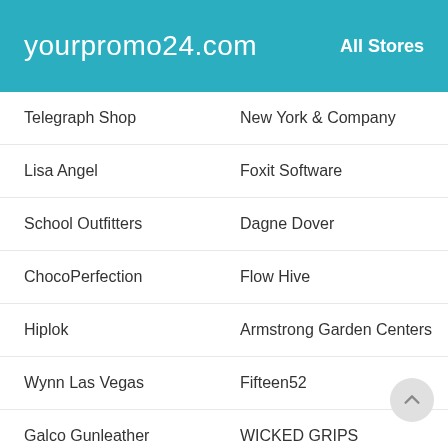yourpromo24.com   All Stores
Telegraph Shop
New York & Company
Lisa Angel
Foxit Software
School Outfitters
Dagne Dover
ChocoPerfection
Flow Hive
Hiplok
Armstrong Garden Centers
Wynn Las Vegas
Fifteen52
Galco Gunleather
WICKED GRIPS
Carnival
Fanatec